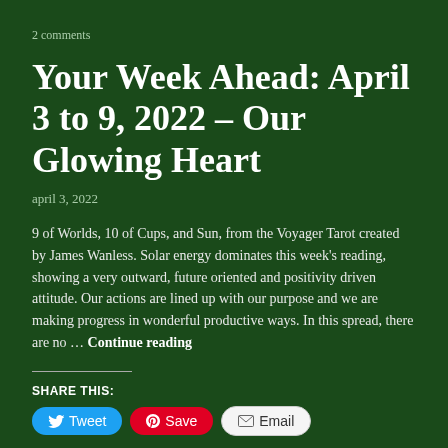2 comments
Your Week Ahead: April 3 to 9, 2022 – Our Glowing Heart
april 3, 2022
9 of Worlds, 10 of Cups, and Sun, from the Voyager Tarot created by James Wanless. Solar energy dominates this week's reading, showing a very outward, future oriented and positivity driven attitude. Our actions are lined up with our purpose and we are making progress in wonderful productive ways. In this spread, there are no … Continue reading
SHARE THIS:
Tweet  Save  Email
Loading...